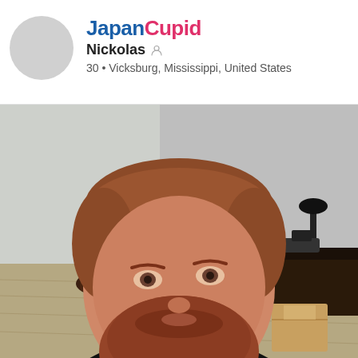JapanCupid
Nickolas
30 • Vicksburg, Mississippi, United States
[Figure (photo): Profile photo of a man with a reddish beard and short auburn hair, wearing a black shirt, taking a selfie in a room with hardwood floors, a dark round table, and equipment on a desk in the background.]